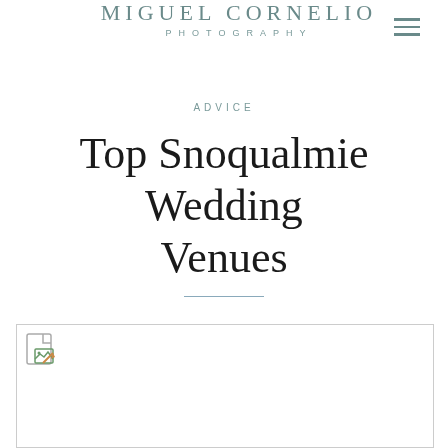MIGUEL CORNELIO PHOTOGRAPHY
ADVICE
Top Snoqualmie Wedding Venues
[Figure (photo): Image placeholder with broken image icon, large rectangular area at bottom of page]